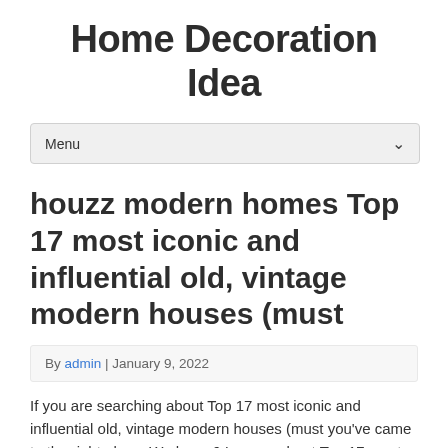Home Decoration Idea
Menu
houzz modern homes Top 17 most iconic and influential old, vintage modern houses (must
By admin | January 9, 2022
If you are searching about Top 17 most iconic and influential old, vintage modern houses (must you've came to the right place. We have 6 Images about Top 17 most